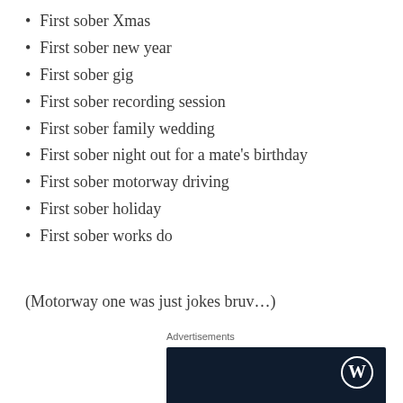First sober Xmas
First sober new year
First sober gig
First sober recording session
First sober family wedding
First sober night out for a mate's birthday
First sober motorway driving
First sober holiday
First sober works do
(Motorway one was just jokes bruv…)
Advertisements
[Figure (illustration): WordPress advertisement with dark navy background, WordPress logo (W in circle) top right, text reading 'Opinions. We all have them!']